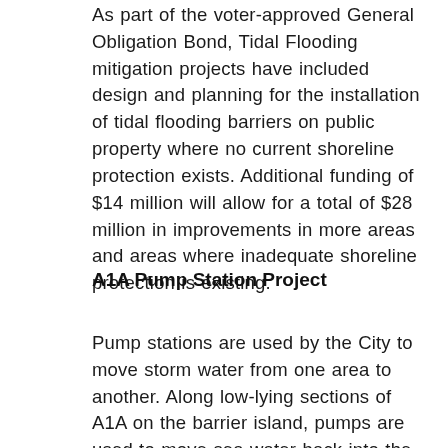As part of the voter-approved General Obligation Bond, Tidal Flooding mitigation projects have included design and planning for the installation of tidal flooding barriers on public property where no current shoreline protection exists. Additional funding of $14 million will allow for a total of $28 million in improvements in more areas and areas where inadequate shoreline protection is existing.
A1A Pump Station Project
Pump stations are used by the City to move storm water from one area to another. Along low-lying sections of A1A on the barrier island, pumps are used to move sea water back into the Intracoastal Waterway to help alleviate street-level flooding. The A1A Pump Station Project will entail installing four stormwater pump stations along A1A at Bouganvilla Terrace, Franklin, Sherman, and Van Buren Streets. This